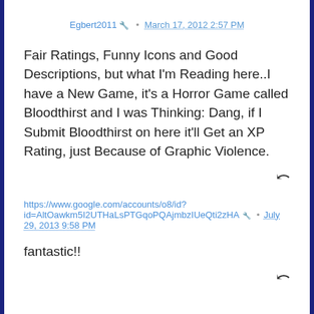Egbert2011 🔧 • March 17, 2012 2:57 PM
Fair Ratings, Funny Icons and Good Descriptions, but what I'm Reading here..I have a New Game, it's a Horror Game called Bloodthirst and I was Thinking: Dang, if I Submit Bloodthirst on here it'll Get an XP Rating, just Because of Graphic Violence.
https://www.google.com/accounts/o8/id?id=AltOawkm5I2UTHaLsPTGqoPQAjmbzIUeQti2zHA 🔧 • July 29, 2013 9:58 PM
fantastic!!